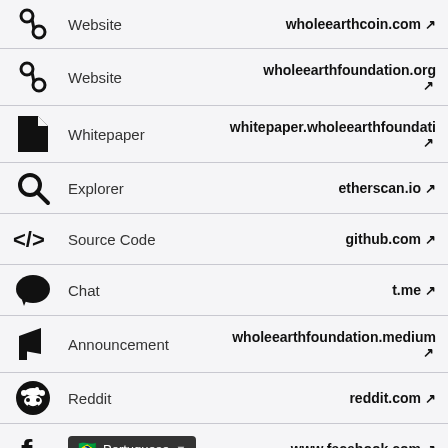Website — wholeearthcoin.com
Website — wholeearthfoundation.org
Whitepaper — whitepaper.wholeearthfoundati…
Explorer — etherscan.io
Source Code — github.com
Chat — t.me
Announcement — wholeearthfoundation.medium
Reddit — reddit.com
Portuguese — www.facebook.com